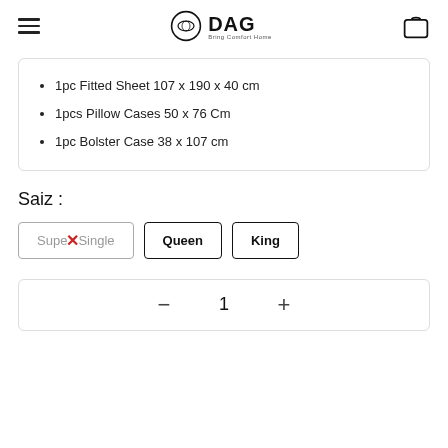DAG - Bring Comfort Home
1pc Fitted Sheet 107 x 190 x 40 cm
1pcs Pillow Cases 50 x 76 Cm
1pc Bolster Case 38 x 107 cm
Saiz :
Super Single  Queen  King
- 1 +